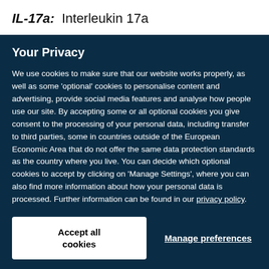IL-17a: Interleukin 17a
Your Privacy
We use cookies to make sure that our website works properly, as well as some 'optional' cookies to personalise content and advertising, provide social media features and analyse how people use our site. By accepting some or all optional cookies you give consent to the processing of your personal data, including transfer to third parties, some in countries outside of the European Economic Area that do not offer the same data protection standards as the country where you live. You can decide which optional cookies to accept by clicking on 'Manage Settings', where you can also find more information about how your personal data is processed. Further information can be found in our privacy policy.
Accept all cookies
Manage preferences